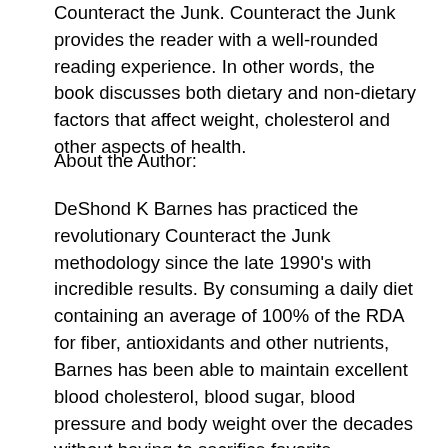Counteract the Junk. Counteract the Junk provides the reader with a well-rounded reading experience. In other words, the book discusses both dietary and non-dietary factors that affect weight, cholesterol and other aspects of health.
About the Author:
DeShond K Barnes has practiced the revolutionary Counteract the Junk methodology since the late 1990's with incredible results. By consuming a daily diet containing an average of 100% of the RDA for fiber, antioxidants and other nutrients, Barnes has been able to maintain excellent blood cholesterol, blood sugar, blood pressure and body weight over the decades without having to sacrifice favorite indulgences. Barnes also teaches Counteract the Junk seminars to spread the word about the Counteract the Junk methodology. Barnes lives and writes in northern Illinois.